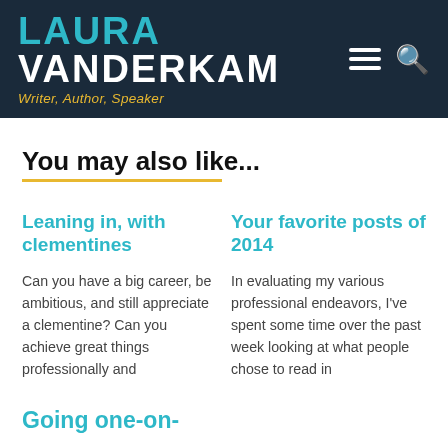LAURA VANDERKAM — Writer, Author, Speaker
You may also like...
Leaning in, with clementines
Can you have a big career, be ambitious, and still appreciate a clementine? Can you achieve great things professionally and
Your favorite posts of 2014
In evaluating my various professional endeavors, I've spent some time over the past week looking at what people chose to read in
Going one-on-